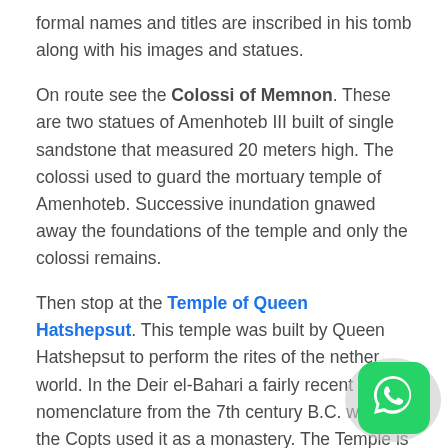formal names and titles are inscribed in his tomb along with his images and statues.
On route see the Colossi of Memnon. These are two statues of Amenhoteb III built of single sandstone that measured 20 meters high. The colossi used to guard the mortuary temple of Amenhoteb. Successive inundation gnawed away the foundations of the temple and only the colossi remains.
Then stop at the Temple of Queen Hatshepsut. This temple was built by Queen Hatshepsut to perform the rites of the nether world. In the Deir el-Bahari a fairly recent nomenclature from the 7th century B.C. when the Copts used it as a monastery. The Temple is composed of three
[Figure (other): WhatsApp messenger app icon in bottom-right corner]